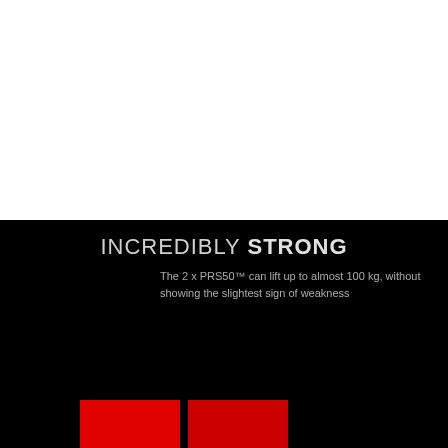[Figure (photo): White area representing a product photo background (top half of page)]
INCREDIBLY STRONG
The 2 x PRS50™ can lift up to almost 100 kg, without showing the slightest sign of weakness
[Figure (illustration): Two red rectangular blocks at the bottom left of the black background area]